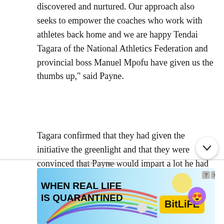discovered and nurtured. Our approach also seeks to empower the coaches who work with athletes back home and we are happy Tendai Tagara of the National Athletics Federation and provincial boss Manuel Mpofu have given us the thumbs up," said Payne.
Tagara confirmed that they had given the initiative the greenlight and that they were convinced that Payne would impart a lot he had learnt in the US where he is also a coach with Anderson. Mpofu described the development as a breakthrough for Bulawayo to have a person of Anderson's stature, visiting.
ADVERTISEMENT
[Figure (other): BitLife mobile game advertisement banner showing rainbow design with text 'WHEN REAL LIFE IS QUARANTINED' and BitLife logo with emoji characters]